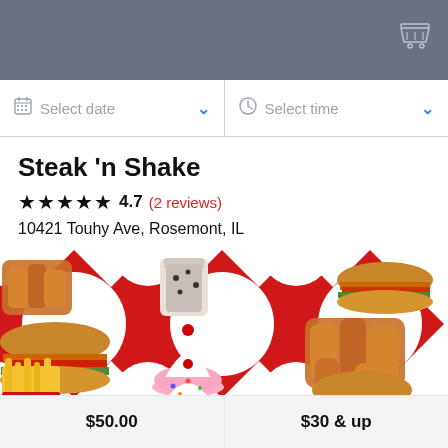Cart icon header bar
Select date | Select time
Steak 'n Shake
★★★★★ 4.7 (2 reviews)
10421 Touhy Ave, Rosemont, IL
[Figure (photo): Steak 'n Shake food items including burgers, milkshakes, chicken tenders, and fries arranged on a red and white patterned background]
$50.00    $30 & up